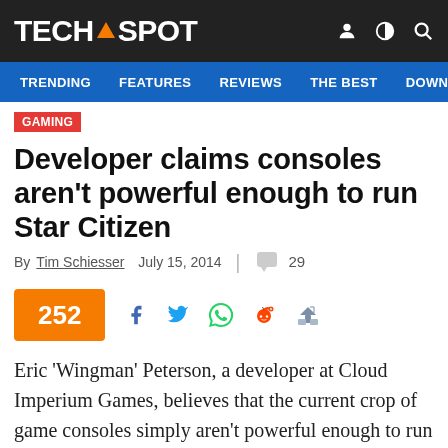TECHSPOT
TRENDING  FEATURES  REVIEWS  THE BEST  DOWNLOA
GAMING
Developer claims consoles aren't powerful enough to run Star Citizen
By Tim Schiesser  July 15, 2014  | 29
252
Eric 'Wingman' Peterson, a developer at Cloud Imperium Games, believes that the current crop of game consoles simply aren't powerful enough to run the studio's upcoming crowd-funded title,